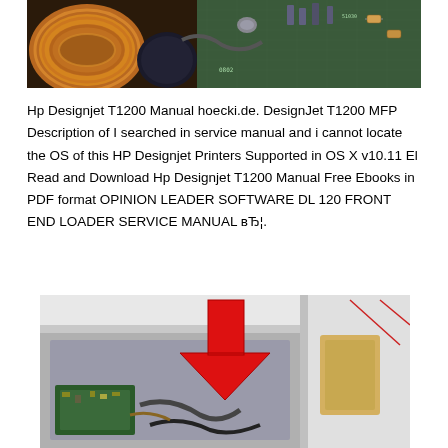[Figure (photo): Close-up photo of electronic components including a large copper inductor coil, capacitors, and a circuit board with various components visible.]
Hp Designjet T1200 Manual hoecki.de. DesignJet T1200 MFP Description of I searched in service manual and i cannot locate the OS of this HP Designjet Printers Supported in OS X v10.11 El Read and Download Hp Designjet T1200 Manual Free Ebooks in PDF format OPINION LEADER SOFTWARE DL 120 FRONT END LOADER SERVICE MANUAL вЂ¦.
[Figure (photo): Interior view of an HP DesignJet printer with a large red downward-pointing arrow indicating a component location, showing circuit boards, cables, and mechanical parts.]